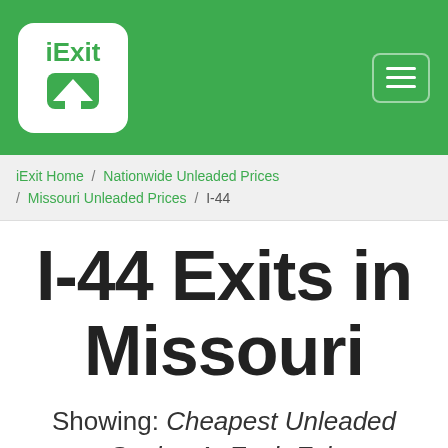iExit [logo] [hamburger menu]
iExit Home / Nationwide Unleaded Prices / Missouri Unleaded Prices / I-44
I-44 Exits in Missouri
Showing: Cheapest Unleaded Station At Each Exit